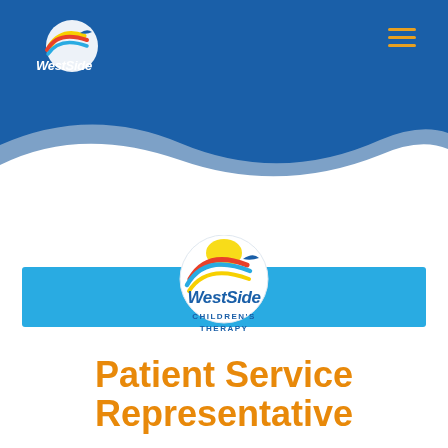[Figure (logo): WestSide Children's Therapy logo in top left of blue header navigation bar]
[Figure (illustration): Hamburger menu icon (three orange horizontal lines) in top right of header]
[Figure (illustration): Wave decoration: dark blue and light blue/grey wave shapes transitioning from blue header to white background]
[Figure (logo): WestSide Children's Therapy center logo with circular emblem above cyan horizontal bar]
Patient Service Representative